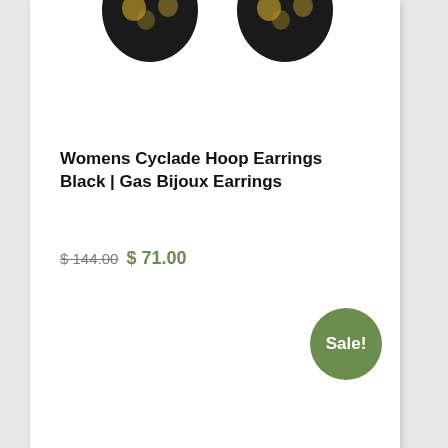[Figure (photo): Partial view of black hoop earrings (Womens Cyclade Hoop Earrings Black by Gas Bijoux) showing two earrings at the top of the product card, cropped.]
Womens Cyclade Hoop Earrings Black | Gas Bijoux Earrings
$ 144.00 $ 71.00
Add to cart
Sale!